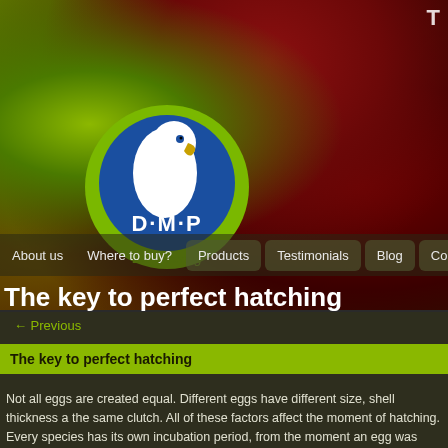[Figure (logo): DMP Engineering logo — white parrot silhouette on blue circle, green ring, text 'D·M·P' and 'Engineering' in green]
T
About us  Where to buy?  Products  Testimonials  Blog  Contact u
The key to perfect hatching
← Previous
The key to perfect hatching
Not all eggs are created equal. Different eggs have different size, shell thickness a the same clutch. All of these factors affect the moment of hatching.
Every species has its own incubation period, from the moment an egg was placed moment of hatching. As mentioned in a previous post, at the end of this period the